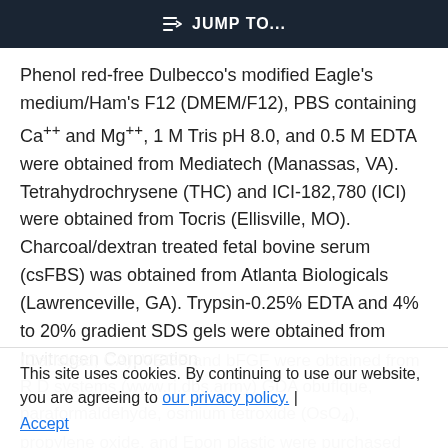JUMP TO...
Phenol red-free Dulbecco's modified Eagle's medium/Ham's F12 (DMEM/F12), PBS containing Ca++ and Mg++, 1 M Tris pH 8.0, and 0.5 M EDTA were obtained from Mediatech (Manassas, VA). Tetrahydrochrysene (THC) and ICI-182,780 (ICI) were obtained from Tocris (Ellisville, MO). Charcoal/dextran treated fetal bovine serum (csFBS) was obtained from Atlanta Biologicals (Lawrenceville, GA). Trypsin-0.25% EDTA and 4% to 20% gradient SDS gels were obtained from Invitrogen Corporation
(Carlsbad, CA). VEGF and bFGF were obtained from R D Systems (www.rjdbs.army) GDA obuflque, paraformaldehyde, osmium tetroxide (OsO4), propylene oxide, and Epon plastic were purchased
This site uses cookies. By continuing to use our website, you are agreeing to our privacy policy. Accept